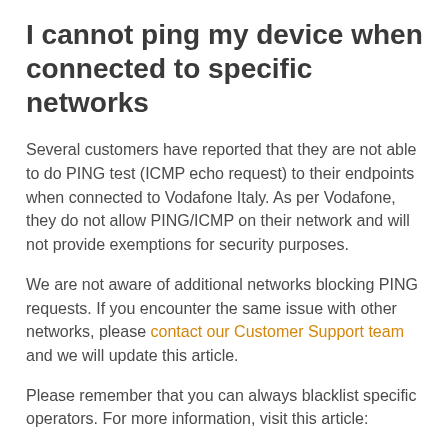I cannot ping my device when connected to specific networks
Several customers have reported that they are not able to do PING test (ICMP echo request) to their endpoints when connected to Vodafone Italy. As per Vodafone, they do not allow PING/ICMP on their network and will not provide exemptions for security purposes.
We are not aware of additional networks blocking PING requests. If you encounter the same issue with other networks, please contact our Customer Support team and we will update this article.
Please remember that you can always blacklist specific operators. For more information, visit this article:
Operator Blacklist Explained